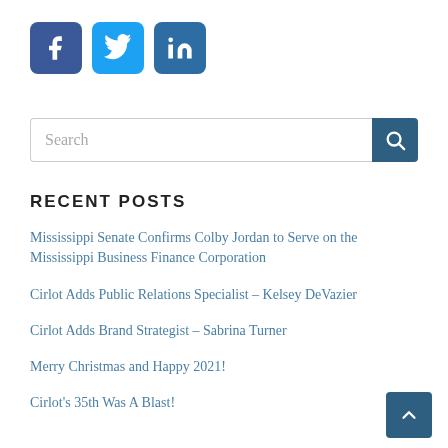[Figure (other): Social media icon buttons: Facebook (dark blue), Twitter (light blue), LinkedIn (medium blue)]
[Figure (other): Search bar with text input placeholder 'Search' and a dark blue search button with magnifying glass icon]
RECENT POSTS
Mississippi Senate Confirms Colby Jordan to Serve on the Mississippi Business Finance Corporation
Cirlot Adds Public Relations Specialist – Kelsey DeVazier
Cirlot Adds Brand Strategist – Sabrina Turner
Merry Christmas and Happy 2021!
Cirlot's 35th Was A Blast!